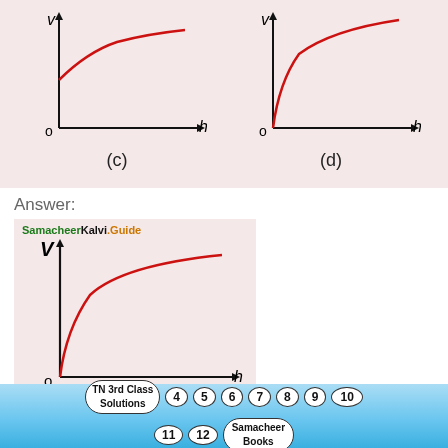[Figure (continuous-plot): Two graphs side by side (c) and (d), both on pink background. Graph (c): v vs h axes, curve starts above origin on v-axis and rises with decreasing slope (concave down). Graph (d): v vs h axes, curve starts at origin and rises steeply then flattens (concave down, starting from origin).]
Answer:
[Figure (continuous-plot): Single graph on pink background with 'SamacheerKalvi.Guide' label. v vs h axes, curve starts at origin and rises steeply then flattens (concave down). Labeled (d).]
Hint:
Speed varies exponentially with height h.
TN 3rd Class Solutions  4  5  6  7  8  9  10  11  12  Samacheer Books